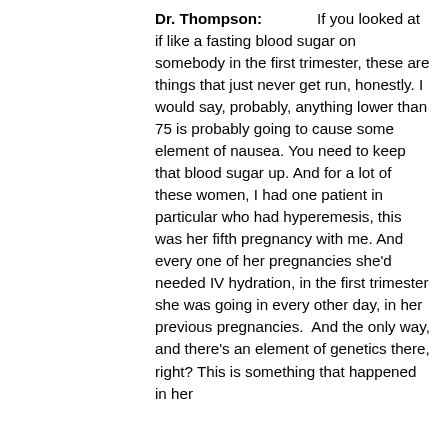Dr. Thompson: If you looked at if like a fasting blood sugar on somebody in the first trimester, these are things that just never get run, honestly. I would say, probably, anything lower than 75 is probably going to cause some element of nausea. You need to keep that blood sugar up. And for a lot of these women, I had one patient in particular who had hyperemesis, this was her fifth pregnancy with me. And every one of her pregnancies she'd needed IV hydration, in the first trimester she was going in every other day, in her previous pregnancies.  And the only way, and there's an element of genetics there, right? This is something that happened in her